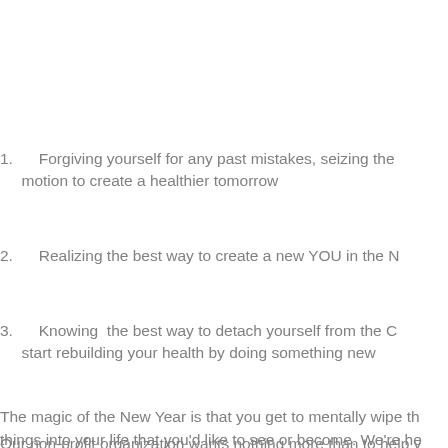1.      Forgiving yourself for any past mistakes, seizing the motion to create a healthier tomorrow
2.      Realizing the best way to create a new YOU in the N
3.      Knowing  the best way to detach yourself from the C start rebuilding your health by doing something new
The magic of the New Year is that you get to mentally wipe th things into your life that you'd like to see or become. We're he
Our non-profit organization wants nothing more than to help y